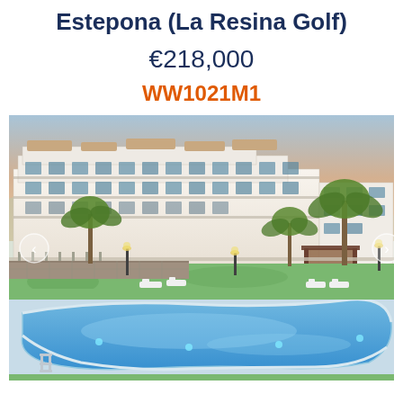Estepona (La Resina Golf)
€218,000
WW1021M1
[Figure (photo): Exterior photo of a white multi-storey residential complex in La Resina Golf, Estepona, with a large curved swimming pool in the foreground, palm trees, sun loungers, and illuminated grounds at dusk.]